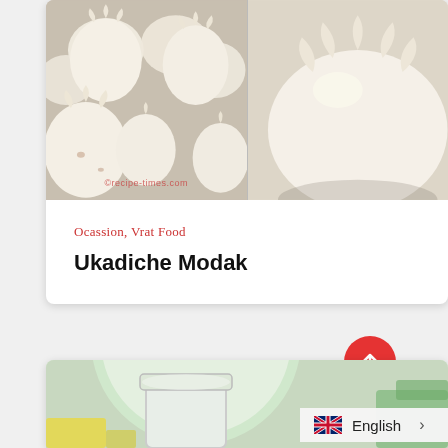[Figure (photo): Two side-by-side photos of Ukadiche Modak (steamed rice dumplings) — left shows multiple modaks grouped together on a white surface, right shows a close-up of a single modak. Watermark reads ©recipe-times.com]
Ocassion, Vrat Food
Ukadiche Modak
[Figure (photo): Partial food photo at bottom showing a white plate with ingredients and a jar, partially visible. Language selector overlay showing English with UK flag.]